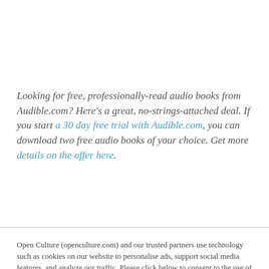Looking for free, professionally-read audio books from Audible.com? Here's a great, no-strings-attached deal. If you start a 30 day free trial with Audible.com, you can download two free audio books of your choice. Get more details on the offer here.
Open Culture (openculture.com) and our trusted partners use technology such as cookies on our website to personalise ads, support social media features, and analyze our traffic. Please click below to consent to the use of this technology while browsing our site.
Cookie settings | ACCEPT